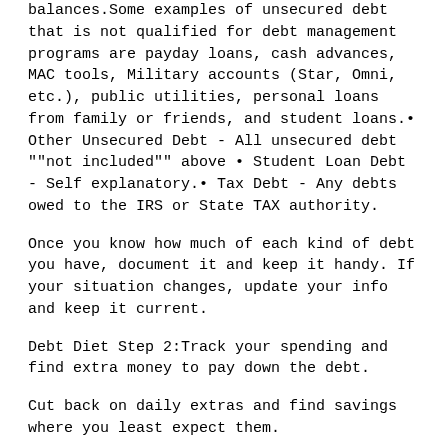balances.Some examples of unsecured debt that is not qualified for debt management programs are payday loans, cash advances, MAC tools, Military accounts (Star, Omni, etc.), public utilities, personal loans from family or friends, and student loans.• Other Unsecured Debt - All unsecured debt ""not included"" above • Student Loan Debt - Self explanatory.• Tax Debt - Any debts owed to the IRS or State TAX authority.
Once you know how much of each kind of debt you have, document it and keep it handy. If your situation changes, update your info and keep it current.
Debt Diet Step 2:Track your spending and find extra money to pay down the debt.
Cut back on daily extras and find savings where you least expect them.
Track Your Spending:This is a multi-part step. The first part is to track your spending. Track each and every penny that